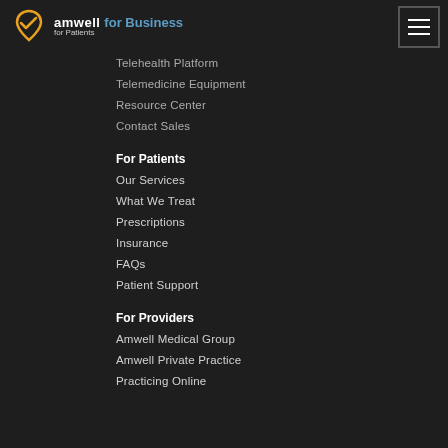[Figure (logo): Amwell logo with heart/check icon and text 'amwell', with 'for Business' and 'for Patients' nav items]
Telehealth Platform
Telemedicine Equipment
Resource Center
Contact Sales
For Patients
Our Services
What We Treat
Prescriptions
Insurance
FAQs
Patient Support
For Providers
Amwell Medical Group
Amwell Private Practice
Practicing Online